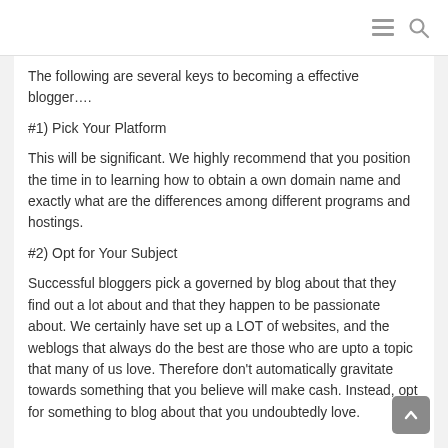The following are several keys to becoming a effective blogger….
#1) Pick Your Platform
This will be significant. We highly recommend that you position the time in to learning how to obtain a own domain name and exactly what are the differences among different programs and hostings.
#2) Opt for Your Subject
Successful bloggers pick a governed by blog about that they find out a lot about and that they happen to be passionate about. We certainly have set up a LOT of websites, and the weblogs that always do the best are those who are upto a topic that many of us love. Therefore don't automatically gravitate towards something that you believe will make cash. Instead, opt for something to blog about that you undoubtedly love.